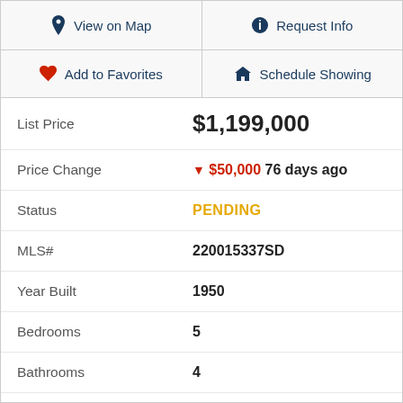View on Map
Request Info
Add to Favorites
Schedule Showing
| Field | Value |
| --- | --- |
| List Price | $1,199,000 |
| Price Change | ▼ $50,000 76 days ago |
| Status | PENDING |
| MLS# | 220015337SD |
| Year Built | 1950 |
| Bedrooms | 5 |
| Bathrooms | 4 |
| Living Sq. Ft. | 3,500 |